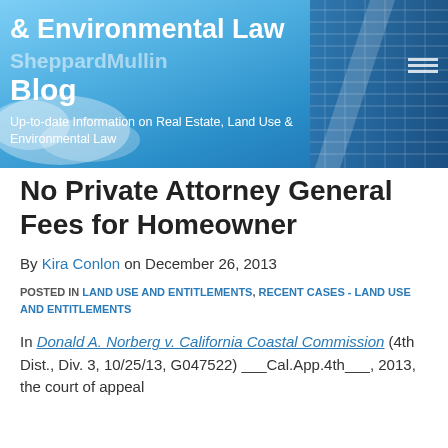[Figure (illustration): Header banner for Real Estate, Land Use & Environmental Law Blog by Sheppard Mullin, featuring blue sky and glass building photograph with white text overlay]
No Private Attorney General Fees for Homeowner
By Kira Conlon on December 26, 2013
POSTED IN LAND USE AND ENTITLEMENTS, RECENT CASES - LAND USE AND ENTITLEMENTS
In Donald A. Norberg v. California Coastal Commission (4th Dist., Div. 3, 10/25/13, G047522) ___Cal.App.4th___, 2013, the court of appeal